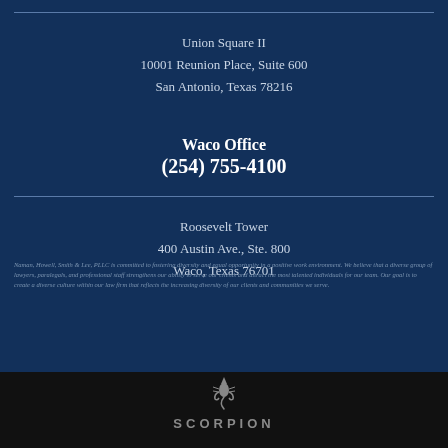Union Square II
10001 Reunion Place, Suite 600
San Antonio, Texas 78216
Waco Office
(254) 755-4100
Roosevelt Tower
400 Austin Ave., Ste. 800
Waco, Texas 76701
Naman, Howell, Smith & Lee, PLLC is committed to fostering diversity and equal opportunity in a positive work environment. We believe that a diverse group of lawyers, paralegals, and professional staff strengthens our ability to serve our clients and attract the most talented individuals for our team. Our goal is to create a diverse culture within our law firm that reflects the increasing diversity of our clients and communities we serve.
[Figure (logo): Scorpion logo with stylized scorpion icon above the text SCORPION]